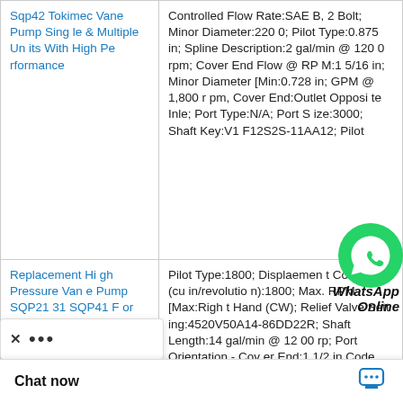| Product Name | Description |
| --- | --- |
| Sqp42 Tokimec Vane Pump Single & Multiple Units With High Performance | Controlled Flow Rate:SAE B, 2 Bolt; Minor Diameter:2200; Pilot Type:0.875 in; Spline Description:2 gal/min @ 1200 rpm; Cover End Flow @ RPM:1 5/16 in; Minor Diameter [Min:0.728 in; GPM @ 1,800 rpm, Cover End:Outlet Opposite Inle; Port Type:N/A; Port Size:3000; Shaft Key:V1 F12S2S-11AA12; Pilot |
| Replacement High Pressure Vane Pump SQP21 31 SQP41 For Plastic Injecti | Pilot Type:1800; Displacement Cover End (cu in/revolution):1800; Max. RPM [Max:Right Hand (CW); Relief Valve Setting:4520V50A14-86DD22R; Shaft Length:14 gal/min @ 1200 rp; Port Orientation - Cover End:1 1/2 in Code 61; Port; Displacement S u in/revolution):3 |
[Figure (logo): WhatsApp Online chat icon with green WhatsApp logo and italic bold text 'WhatsApp Online']
Chat now
[Figure (other): Browser UI bar overlay with X close button and three-dot menu, plus Chat now bar at bottom with chat icon]